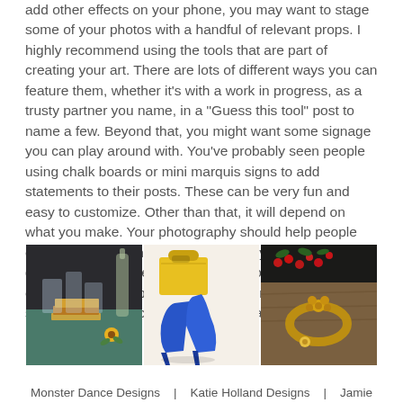add other effects on your phone, you may want to stage some of your photos with a handful of relevant props. I highly recommend using the tools that are part of creating your art. There are lots of different ways you can feature them, whether it's with a work in progress, as a trusty partner you name, in a "Guess this tool" post to name a few. Beyond that, you might want some signage you can play around with. You've probably seen people using chalk boards or mini marquis signs to add statements to their posts. These can be very fun and easy to customize. Other than that, it will depend on what you make. Your photography should help people envision owning and using your art. If you make etched glasses for example, you may want some acrylic ice cubes and bar props. If you make journals, I would have some pens and stickers. Learn more about staging here.
[Figure (photo): Three product photography images side by side: left shows etched glass products staged with books and sunflowers on a teal table; center shows blue high heels with a yellow handbag on a white background; right shows a gold floral bracelet on a wooden surface with berries and flowers.]
Monster Dance Designs   |   Katie Holland Designs   |   Jamie